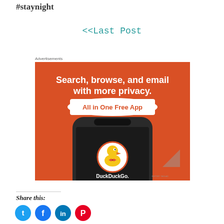#staynight
<<Last Post
Advertisements
[Figure (illustration): DuckDuckGo advertisement banner on orange background showing a smartphone with DuckDuckGo logo and text 'Search, browse, and email with more privacy. All in One Free App']
Share this: